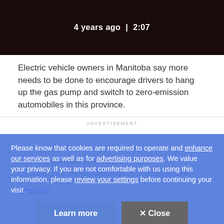[Figure (screenshot): Video thumbnail showing a dark red/maroon car, with text '4 years ago | 2:07' overlaid in white]
Electric vehicle owners in Manitoba say more needs to be done to encourage drivers to hang up the gas pump and switch to zero-emission automobiles in this province.
ADVERTISEMENT
With files from Erin Brohman
CBC's Journalistic Standards and Practices   |   About CBC News
Corrections and clarifications   |   Submit a news tip   |   Report error
Please know that cookies are required to operate and enhance our services as well as for advertising purposes. We value your privacy. If you are not comfortable with us using this information, please review your settings before continuing your visit.